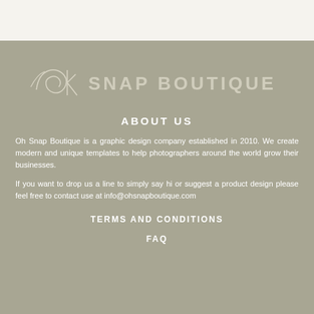[Figure (logo): Oh Snap Boutique logo with cursive 'Ok' script and bold caps 'SNAP BOUTIQUE' text in muted beige/white on sage green background]
ABOUT US
Oh Snap Boutique is a graphic design company established in 2010. We create modern and unique templates to help photographers around the world grow their businesses.
If you want to drop us a line to simply say hi or suggest a product design please feel free to contact use at info@ohsnapboutique.com
TERMS AND CONDITIONS
FAQ